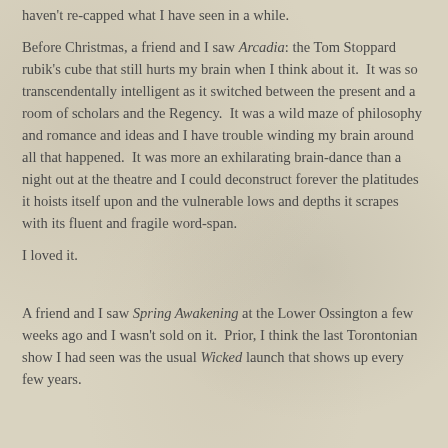haven't re-capped what I have seen in a while.
Before Christmas, a friend and I saw Arcadia: the Tom Stoppard rubik's cube that still hurts my brain when I think about it. It was so transcendentally intelligent as it switched between the present and a room of scholars and the Regency. It was a wild maze of philosophy and romance and ideas and I have trouble winding my brain around all that happened. It was more an exhilarating brain-dance than a night out at the theatre and I could deconstruct forever the platitudes it hoists itself upon and the vulnerable lows and depths it scrapes with its fluent and fragile word-span.
I loved it.
A friend and I saw Spring Awakening at the Lower Ossington a few weeks ago and I wasn't sold on it. Prior, I think the last Torontonian show I had seen was the usual Wicked launch that shows up every few years.